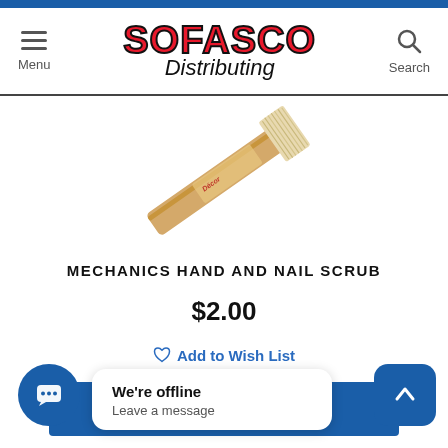[Figure (logo): Sofasco Distributing logo with red bold SOFASCO text and black italic Distributing script below]
[Figure (photo): A mechanics hand and nail scrub brush with wooden handle and natural bristles, tilted diagonally]
MECHANICS HAND AND NAIL SCRUB
$2.00
Add to Wish List
We're offline
Leave a message